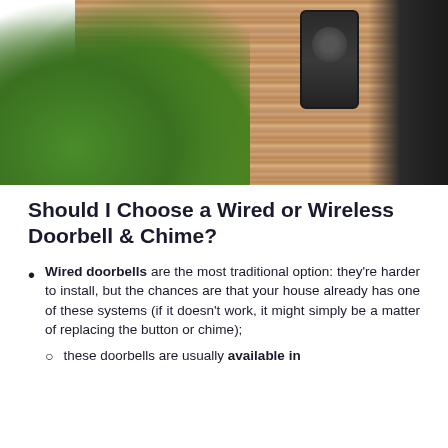[Figure (photo): Photo of a doorbell mounted on a wood-paneled wall with green plants in the foreground and a dark door frame on the right]
Should I Choose a Wired or Wireless Doorbell & Chime?
Wired doorbells are the most traditional option: they're harder to install, but the chances are that your house already has one of these systems (if it doesn't work, it might simply be a matter of replacing the button or chime);
these doorbells are usually available in